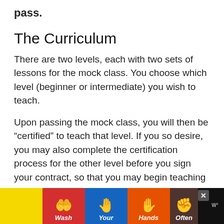pass.
The Curriculum
There are two levels, each with two sets of lessons for the mock class. You choose which level (beginner or intermediate) you wish to teach.
Upon passing the mock class, you will then be “certified” to teach that level. If you so desire, you may also complete the certification process for the other level before you sign your contract, so that you may begin teaching both levels immediately.
[Figure (other): Advertisement banner: Wash Your Hands Often public health ad with illustrated hands on colored backgrounds (yellow, red, blue, orange), with a close button and logo on black background]